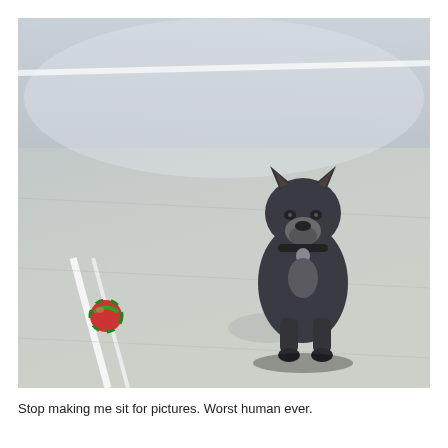[Figure (photo): A dark grey Boston Terrier or French Bulldog sitting on a concrete floor (garage or parking area), looking up at the camera with a slightly grumpy expression. A small red and green ball sits on the floor to the dog's left. The dog is wearing a collar with tags. White stripe markings are visible on the concrete floor.]
Stop making me sit for pictures. Worst human ever.